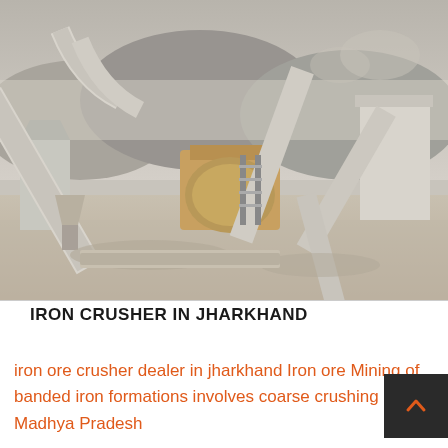[Figure (photo): Industrial mining/crushing plant with large conveyor belts, pipes, machinery, and hoppers in an open-air dusty environment with hills in the background.]
IRON CRUSHER IN JHARKHAND
iron ore crusher dealer in jharkhand Iron ore Mining of banded iron formations involves coarse crushing and Madhya Pradesh